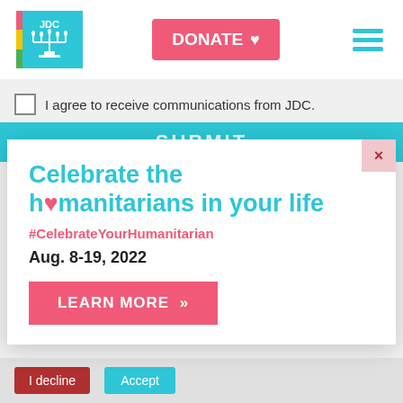[Figure (logo): JDC logo — teal square with white menorah and 'JDC' text]
[Figure (screenshot): Pink DONATE button with heart icon]
[Figure (infographic): Teal hamburger menu icon (three horizontal lines)]
I agree to receive communications from JDC.
SUBMIT
Celebrate the h♥manitarians in your life
#CelebrateYourHumanitarian
Aug. 8-19, 2022
LEARN MORE »
I decline
Accept